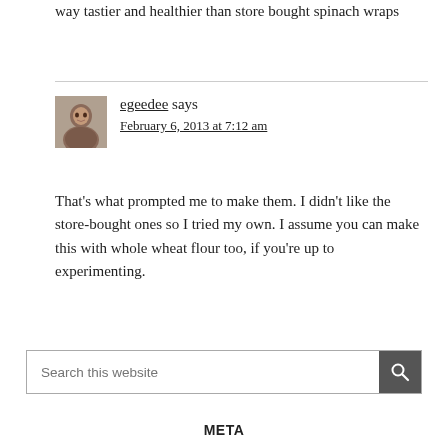way tastier and healthier than store bought spinach wraps
egeedee says
February 6, 2013 at 7:12 am
That's what prompted me to make them. I didn't like the store-bought ones so I tried my own. I assume you can make this with whole wheat flour too, if you're up to experimenting.
Search this website
META